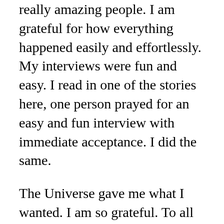really amazing people. I am grateful for how everything happened easily and effortlessly. My interviews were fun and easy. I read in one of the stories here, one person prayed for an easy and fun interview with immediate acceptance. I did the same.
The Universe gave me what I wanted. I am so grateful. To all the people here, I would say try to focus on what can go right for you and be hopeful.
Lots of love to everyone. I am grateful to each one of you who shared your story. Trust me, the Universe has its own mysterious way of rewarding you.
The Universe always...